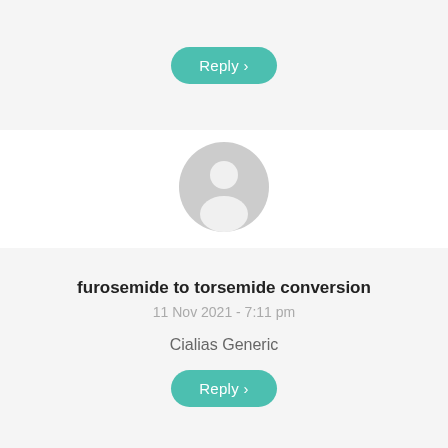[Figure (other): Reply button with teal rounded pill style at top]
[Figure (other): Generic user avatar placeholder icon in gray circle]
furosemide to torsemide conversion
11 Nov 2021 - 7:11 pm
Cialias Generic
[Figure (other): Reply button with teal rounded pill style at bottom]